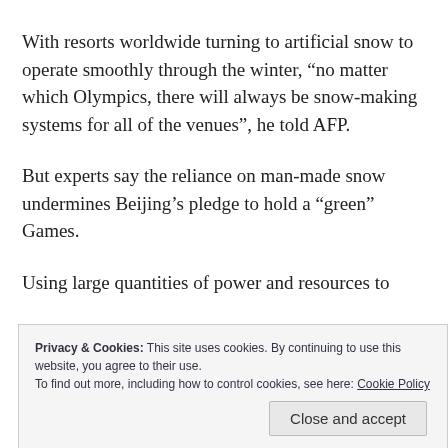With resorts worldwide turning to artificial snow to operate smoothly through the winter, “no matter which Olympics, there will always be snow-making systems for all of the venues”, he told AFP.
But experts say the reliance on man-made snow undermines Beijing’s pledge to hold a “green” Games.
Using large quantities of power and resources to
Privacy & Cookies: This site uses cookies. By continuing to use this website, you agree to their use.
To find out more, including how to control cookies, see here: Cookie Policy